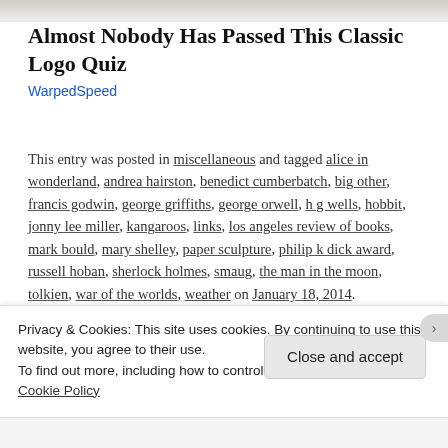[Figure (photo): Partial image at top of page, cropped]
Almost Nobody Has Passed This Classic Logo Quiz
WarpedSpeed
This entry was posted in miscellaneous and tagged alice in wonderland, andrea hairston, benedict cumberbatch, big other, francis godwin, george griffiths, george orwell, h g wells, hobbit, jonny lee miller, kangaroos, links, los angeles review of books, mark bould, mary shelley, paper sculpture, philip k dick award, russell hoban, sherlock holmes, smaug, the man in the moon, tolkien, war of the worlds, weather on January 18, 2014.
Privacy & Cookies: This site uses cookies. By continuing to use this website, you agree to their use.
To find out more, including how to control cookies, see here: Cookie Policy